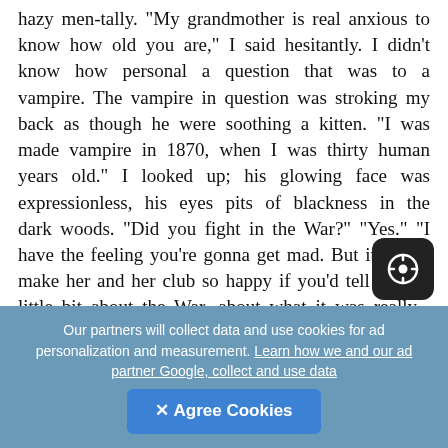hazy men-tally. "My grandmother is real anxious to know how old you are," I said hesitantly. I didn't know how personal a question that was to a vampire. The vampire in question was stroking my back as though he were soothing a kitten. "I was made vampire in 1870, when I was thirty human years old." I looked up; his glowing face was expressionless, his eyes pits of blackness in the dark woods. "Did you fight in the War?" "Yes." "I have the feeling you're gonna get mad. But it would make her and her club so happy if you'd tell them a little bit about the War, about what it was really... "Club?" "She belongs to Descendants of the Glorious Dead."
Generated by ABC Amber LIT Converter
Our partners will collect data and use cookies for ad personalization and measurement. Learn how we and our ad partner Google, collect and use data
✕ Agree Cookies